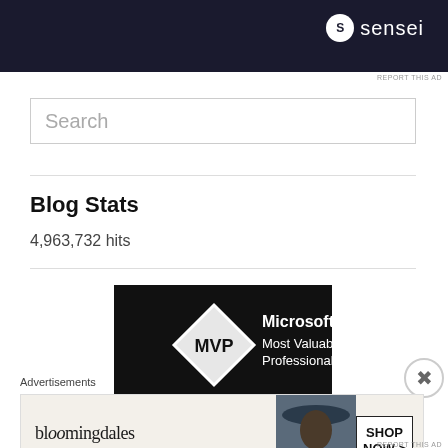[Figure (screenshot): Sensei logo on dark navy background — top advertisement banner]
REPORT THIS AD
Search
Blog Stats
4,963,732 hits
[Figure (logo): Microsoft MVP — Most Valuable Professional badge on black background]
Advertisements
[Figure (screenshot): Bloomingdales advertisement — View Today's Top Deals! SHOP NOW >]